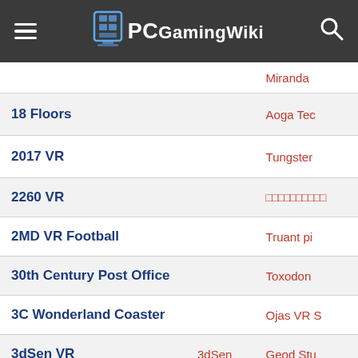PCGamingWiki
| Game | Developer | Publisher |
| --- | --- | --- |
|  |  | Miranda |
| 18 Floors |  | Aoga Tec |
| 2017 VR |  | Tungster |
| 2260 VR |  |  |
| 2MD VR Football |  | Truant pi |
| 30th Century Post Office |  | Toxodon |
| 3C Wonderland Coaster |  | Ojas VR S |
| 3dSen VR | 3dSen | Geod Stu |
| 3Gun Nation VR |  | Team Bra |
| 4th of July VR |  | Moontow |